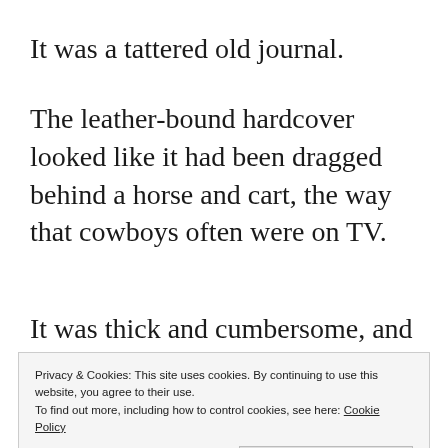It was a tattered old journal.
The leather-bound hardcover looked like it had been dragged behind a horse and cart, the way that cowboys often were on TV.
It was thick and cumbersome, and the page edges were marbled so that when
Privacy & Cookies: This site uses cookies. By continuing to use this website, you agree to their use.
To find out more, including how to control cookies, see here: Cookie Policy
I'd never seen such a book.